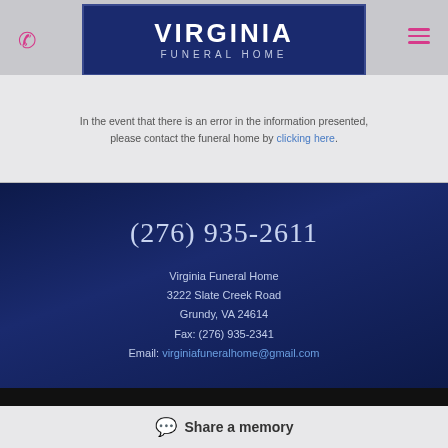[Figure (logo): Virginia Funeral Home logo — white text on dark navy blue rectangle with border]
In the event that there is an error in the information presented, please contact the funeral home by clicking here.
(276) 935-2611
Virginia Funeral Home
3222 Slate Creek Road
Grundy, VA 24614
Fax: (276) 935-2341
Email: virginiafuneralhome@gmail.com
Share a memory